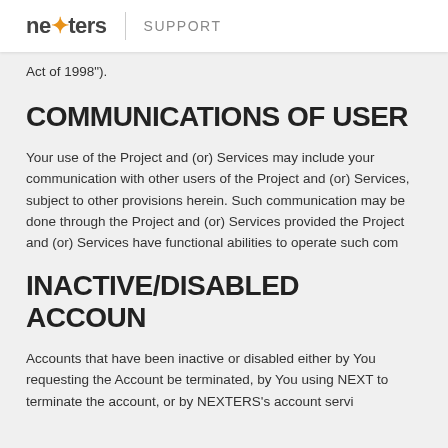nexters | SUPPORT
Act of 1998").
COMMUNICATIONS OF USER
Your use of the Project and (or) Services may include your communication with other users of the Project and (or) Services, subject to other provisions herein. Such communication may be done through the Project and (or) Services provided the Project and (or) Services have functional abilities to operate such com
INACTIVE/DISABLED ACCOUN
Accounts that have been inactive or disabled either by You requesting the Account be terminated, by You using NEXT to terminate the account, or by NEXTERS's account servi